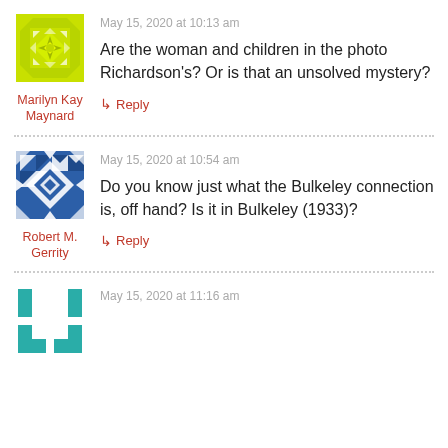[Figure (illustration): Yellow/green quilt-pattern avatar icon for Marilyn Kay Maynard]
Marilyn Kay Maynard
May 15, 2020 at 10:13 am
Are the woman and children in the photo Richardson's? Or is that an unsolved mystery?
↳ Reply
[Figure (illustration): Blue and white quilt-pattern avatar icon for Robert M. Gerrity]
Robert M. Gerrity
May 15, 2020 at 10:54 am
Do you know just what the Bulkeley connection is, off hand? Is it in Bulkeley (1933)?
↳ Reply
[Figure (illustration): Teal/green geometric avatar icon (partially visible at bottom)]
May 15, 2020 at 11:16 am